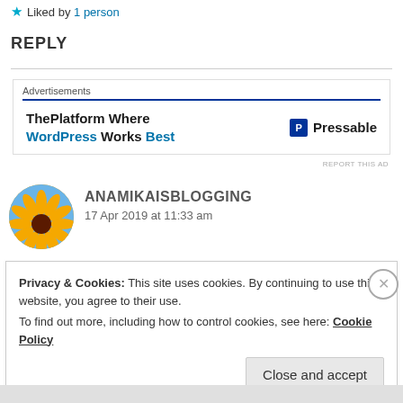★ Liked by 1 person
REPLY
[Figure (screenshot): Pressable advertisement banner: 'ThePlatform Where WordPress Works Best' with Pressable logo]
REPORT THIS AD
ANAMIKAISBLOGGING
17 Apr 2019 at 11:33 am
Privacy & Cookies: This site uses cookies. By continuing to use this website, you agree to their use.
To find out more, including how to control cookies, see here: Cookie Policy
Close and accept